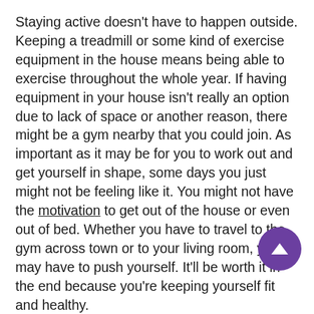Staying active doesn't have to happen outside. Keeping a treadmill or some kind of exercise equipment in the house means being able to exercise throughout the whole year. If having equipment in your house isn't really an option due to lack of space or another reason, there might be a gym nearby that you could join. As important as it may be for you to work out and get yourself in shape, some days you just might not be feeling like it. You might not have the motivation to get out of the house or even out of bed. Whether you have to travel to the gym across town or to your living room, you may have to push yourself. It'll be worth it in the end because you're keeping yourself fit and healthy.
Staying active is obviously beneficial for physical health, but can also be beneficial for mental health. For someone who's been struggling with depression, spending all day in bed or on the couch won't put them in a better mood. Physical activity can distract them from being depressed and make them feel better for a